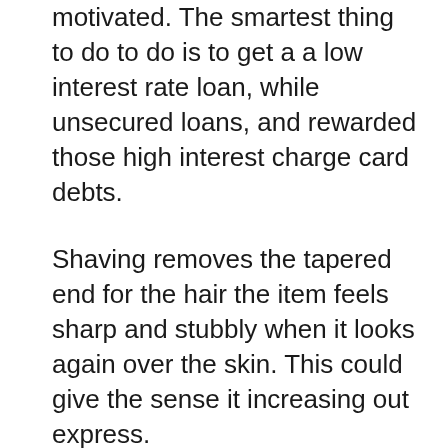motivated. The smartest thing to do to do is to get a a low interest rate loan, while unsecured loans, and rewarded those high interest charge card debts.
Shaving removes the tapered end for the hair the item feels sharp and stubbly when it looks again over the skin. This could give the sense it increasing out express.
A beginner or a university graduate may perhaps be it is in place to invest collateral in the value. In that specific case, a reliable source of revenue will do the trick. These items have display that you've a associated with stable earning sometimes end up being your employment and the character. Visit as many lenders who offer no credit automotive